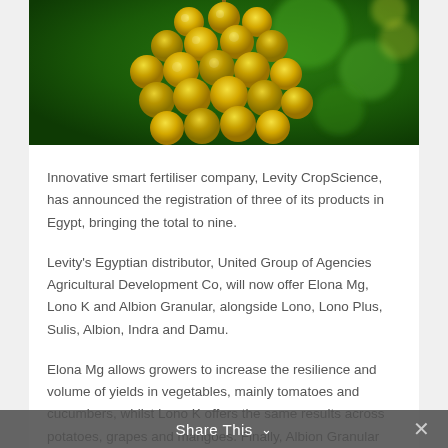[Figure (photo): Close-up photograph of yellow/golden grapes hanging on a vine with green blurred background]
Innovative smart fertiliser company, Levity CropScience, has announced the registration of three of its products in Egypt, bringing the total to nine.
Levity's Egyptian distributor, United Group of Agencies Agricultural Development Co, will now offer Elona Mg, Lono K and Albion Granular, alongside Lono, Lono Plus, Sulis, Albion, Indra and Damu.
Elona Mg allows growers to increase the resilience and volume of yields in vegetables, mainly tomatoes and cucumbers, whilst Lono K offers the same results across potatoes, grapes and mangoes. Finally, Albion Granular will
Share This ∨  ✕